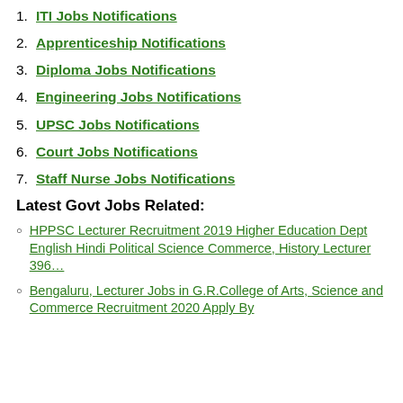1. ITI Jobs Notifications
2. Apprenticeship Notifications
3. Diploma Jobs Notifications
4. Engineering Jobs Notifications
5. UPSC Jobs Notifications
6. Court Jobs Notifications
7. Staff Nurse Jobs Notifications
Latest Govt Jobs Related:
HPPSC Lecturer Recruitment 2019 Higher Education Dept English Hindi Political Science Commerce, History Lecturer 396…
Bengaluru, Lecturer Jobs in G.R.College of Arts, Science and Commerce Recruitment 2020 Apply By